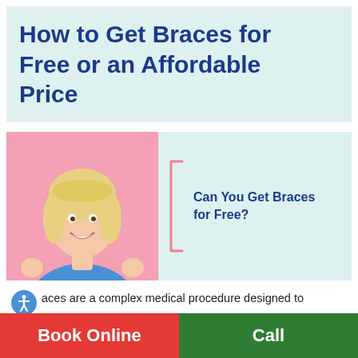How to Get Braces for Free or an Affordable Price
[Figure (photo): Smiling blonde woman giving thumbs up on pink background]
Can You Get Braces for Free?
aces are a complex medical procedure designed to
Book Online
Call